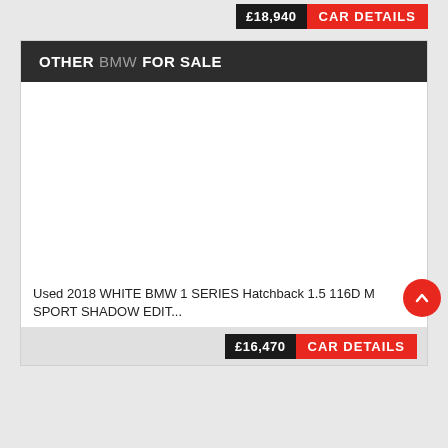£18,940
CAR DETAILS
OTHER BMW FOR SALE
[Figure (photo): White BMW 1 Series Hatchback car listing image area (blank/loading)]
Used 2018 WHITE BMW 1 SERIES Hatchback 1.5 116D M SPORT SHADOW EDIT...
£16,470
CAR DETAILS